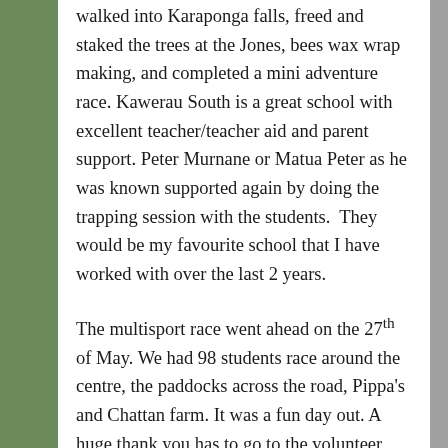walked into Karaponga falls, freed and staked the trees at the Jones, bees wax wrap making, and completed a mini adventure race. Kawerau South is a great school with excellent teacher/teacher aid and parent support. Peter Murnane or Matua Peter as he was known supported again by doing the trapping session with the students.  They would be my favourite school that I have worked with over the last 2 years.
The multisport race went ahead on the 27th of May. We had 98 students race around the centre, the paddocks across the road, Pippa's and Chattan farm. It was a fun day out. A huge thank you has to go to the volunteer help that I received on the day.
Native tree planting has started again this year in the Jones field (the one with the barn next to the